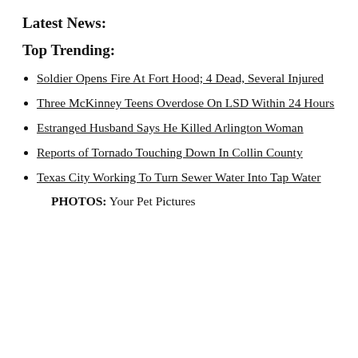Latest News:
Top Trending:
Soldier Opens Fire At Fort Hood; 4 Dead, Several Injured
Three McKinney Teens Overdose On LSD Within 24 Hours
Estranged Husband Says He Killed Arlington Woman
Reports of Tornado Touching Down In Collin County
Texas City Working To Turn Sewer Water Into Tap Water
PHOTOS: Your Pet Pictures